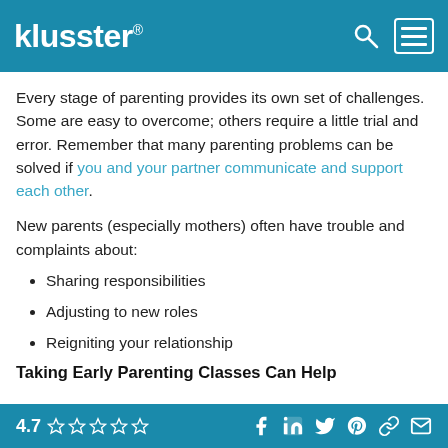klusster®
Every stage of parenting provides its own set of challenges. Some are easy to overcome; others require a little trial and error. Remember that many parenting problems can be solved if you and your partner communicate and support each other.
New parents (especially mothers) often have trouble and complaints about:
Sharing responsibilities
Adjusting to new roles
Reigniting your relationship
Taking Early Parenting Classes Can Help
4.7 ☆☆☆☆☆  [social icons: Facebook, LinkedIn, Twitter, Pinterest, Link, Email]